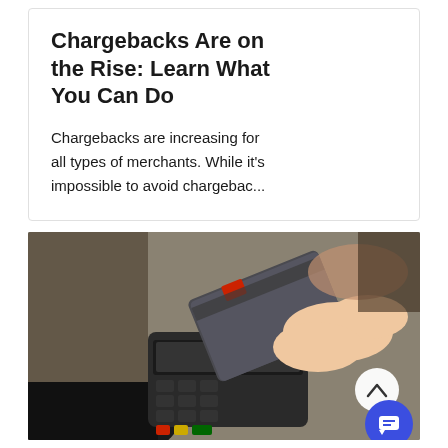Chargebacks Are on the Rise: Learn What You Can Do
Chargebacks are increasing for all types of merchants. While it's impossible to avoid chargebac...
[Figure (photo): Close-up photo of a person inserting a bank/credit card into a card payment terminal, with a second person's hand visible in the background]